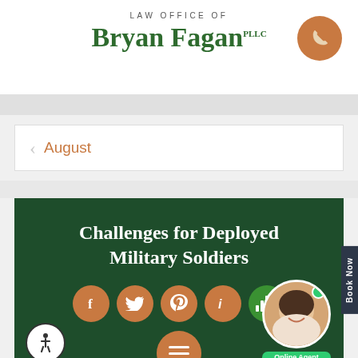LAW OFFICE OF Bryan Fagan PLLC
August
Challenges for Deployed Military Soldiers
[Figure (infographic): Dark green article card with title 'Challenges for Deployed Military Soldiers', social share icons (Facebook, Twitter, Pinterest, LinkedIn, audio), and bottom navigation with PREV POST and NEXT POST labels on orange bar. Accessibility button and hamburger menu visible.]
PREV POST   NEXT POST